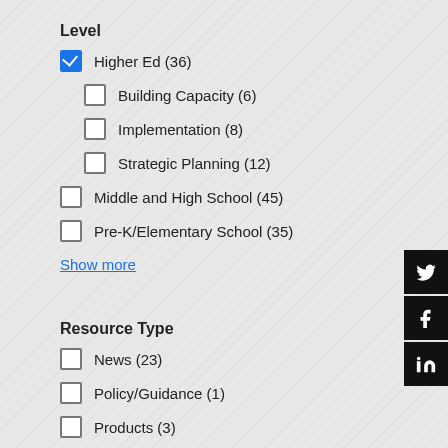Level
Higher Ed (36)
Building Capacity (6)
Implementation (8)
Strategic Planning (12)
Middle and High School (45)
Pre-K/Elementary School (35)
Show more
Resource Type
News (23)
Policy/Guidance (1)
Products (3)
Research (6)
Video (1)